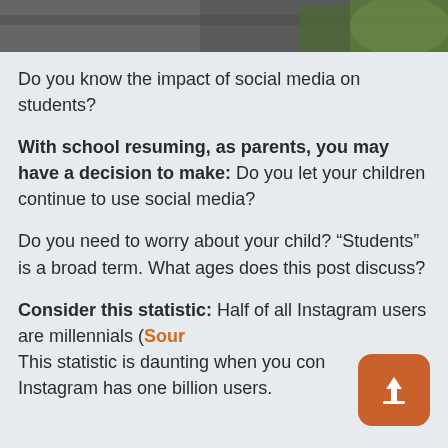[Figure (photo): Partial photo strip at top of page showing outdoor scene with stone/rock and greenery]
Do you know the impact of social media on students?
With school resuming, as parents, you may have a decision to make: Do you let your children continue to use social media?
Do you need to worry about your child? “Students” is a broad term. What ages does this post discuss?
Consider this statistic: Half of all Instagram users are millennials (Sour… This statistic is daunting when you con… Instagram has one billion users.